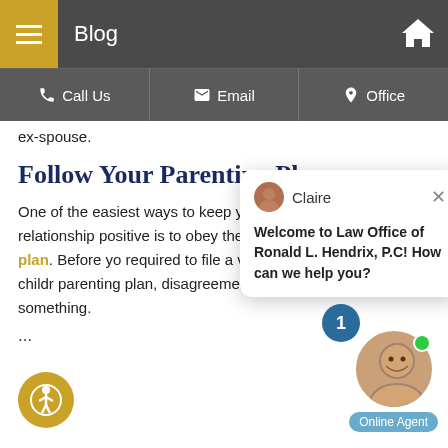Blog
Call Us | Email | Office
ex-spouse.
Follow Your Parenting Plan
One of the easiest ways to keep your co-parenting relationship positive is to obey the terms of your parenting plan. Before you required to file a variety of info raise your children parenting plan, disagreement or fight will occur over something.
[Figure (screenshot): Chat popup from Claire at Law Office of Ronald L. Hendrix, P.C saying: Welcome to Law Office of Ronald L. Hendrix, P.C! How can we help you?]
...
[Figure (photo): Online Agent widget with female agent photo, green online dot, and blue Online Agent label. Chat bubble notification showing 1 unread message.]
[Figure (illustration): Accessibility icon button (gold circle with person symbol)]